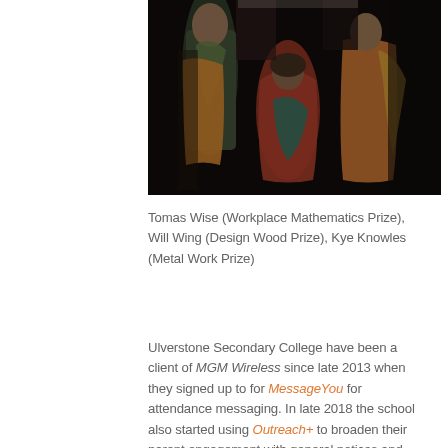[Figure (photo): Photograph of theatrical or artistic figurines/statues wearing colorful draped robes in oranges, greens, reds, and golds against a dark background.]
Tomas Wise (Workplace Mathematics Prize), Will Wing (Design Wood Prize), Kye Knowles (Metal Work Prize)
Ulverstone Secondary College have been a client of MGM Wireless since late 2013 when they signed up to for MessageYou for attendance messaging. In late 2018 the school also started using Outreach+ to broaden their parent engagement with general notices and reminders.
At MGM Wireless, we feel grateful that our